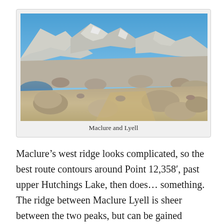[Figure (photo): Mountain landscape photograph showing rocky terrain with boulders in the foreground, a glaciated cirque area in the middle ground, and rugged mountain peaks (Maclure and Lyell) against a blue sky in the background.]
Maclure and Lyell
Maclure’s west ridge looks complicated, so the best route contours around Point 12,358’, past upper Hutchings Lake, then does… something. The ridge between Maclure Lyell is sheer between the two peaks, but can be gained either just west of Maclure or at a saddle on Lyell’s